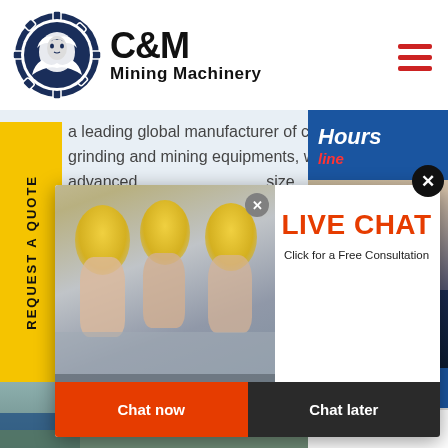[Figure (logo): C&M Mining Machinery logo with eagle in gear circle, dark blue]
C&M Mining Machinery
a leading global manufacturer of crushing, grinding and mining equipments, we offer advanced ... size reduction ... rusher M ... nd differ ... ou the complete stone crushing ... beneficiation plant. We also supp
[Figure (infographic): Live Chat popup overlay with construction workers in yellow hard hats, LIVE CHAT heading in red, 'Click for a Free Consultation' subtitle, Chat now and Chat later buttons]
[Figure (photo): Bottom strip showing industrial facility / mining site outdoors]
[Figure (photo): Right sidebar with customer service agent wearing headset, Click to Chat button, Enquiry label, 24 Hours Online panel]